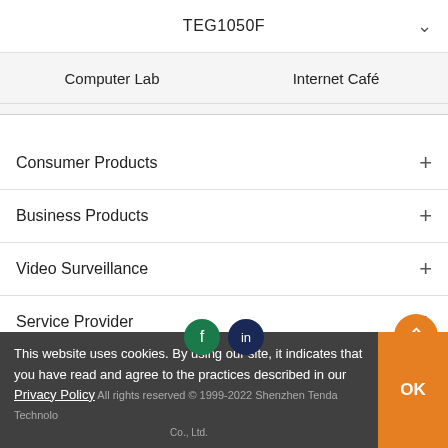TEG1050F
| Computer Lab | Internet Café |
| --- | --- |
Consumer Products
Business Products
Video Surveillance
Service Provider
This website uses cookies. By using our site, it indicates that you have read and agree to the practices described in our Privacy Policy
All rights reserved © 1999-2022 Shenzhen Tenda Technology Co., Ltd.